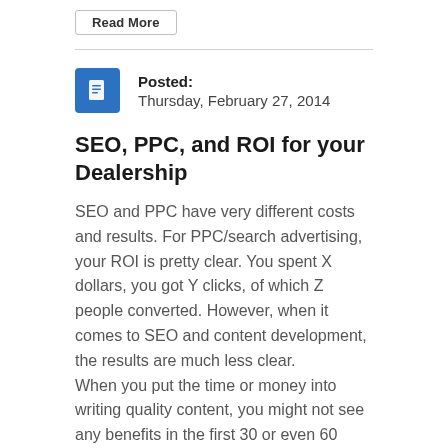Read More
Posted:
Thursday, February 27, 2014
SEO, PPC, and ROI for your Dealership
SEO and PPC have very different costs and results. For PPC/search advertising, your ROI is pretty clear. You spent X dollars, you got Y clicks, of which Z people converted. However, when it comes to SEO and content development, the results are much less clear.
When you put the time or money into writing quality content, you might not see any benefits in the first 30 or even 60 days. Over time, though, the more high quality articles you publish, the more your traffic will improve and the more it will benefit your search ranking.
This can make SEO very discouraging to pursue, but the results are far more sustainable